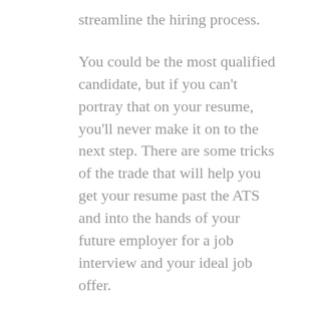streamline the hiring process.
You could be the most qualified candidate, but if you can't portray that on your resume, you'll never make it on to the next step. There are some tricks of the trade that will help you get your resume past the ATS and into the hands of your future employer for a job interview and your ideal job offer.
The good news is that most of the tips that help you pass an ATS will also help you impress a hiring official!
Watch this video to learn: